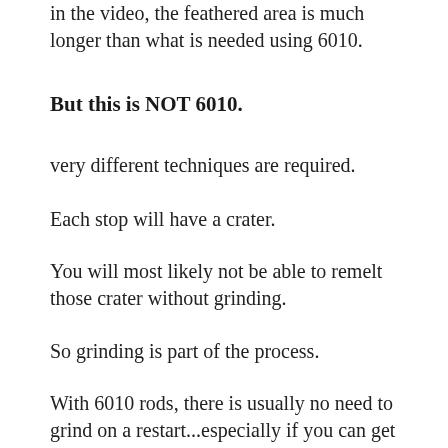in the video, the feathered area is much longer than what is needed using 6010.
But this is NOT 6010.
very different techniques are required.
Each stop will have a crater.
You will most likely not be able to remelt those crater without grinding.
So grinding is part of the process.
With 6010 rods, there is usually no need to grind on a restart...especially if you can get right back in the puddle while things are still hot.  The 6010